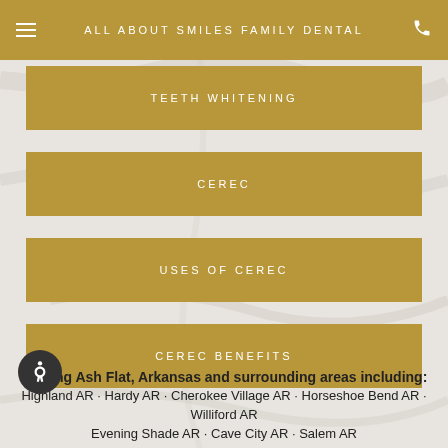ALL ABOUT SMILES FAMILY DENTAL
TEETH WHITENING
CEREC
USES OF CEREC
CEREC BENEFITS
Serving Ash Flat, Arkansas and surrounding areas including:
Highland AR · Hardy AR · Cherokee Village AR · Horseshoe Bend AR · Williford AR
Eveming Shade AR · Cave City AR · Salem AR